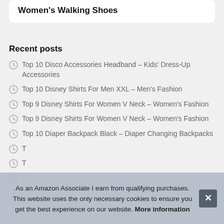Women's Walking Shoes
Recent posts
Top 10 Disco Accessories Headband – Kids' Dress-Up Accessories
Top 10 Disney Shirts For Men XXL – Men's Fashion
Top 9 Disney Shirts For Women V Neck – Women's Fashion
Top 9 Disney Shirts For Women V Neck – Women's Fashion
Top 10 Diaper Backpack Black – Diaper Changing Backpacks
T…
T…
T…
As an Amazon Associate I earn from qualifying purchases. This website uses the only necessary cookies to ensure you get the best experience on our website. More information